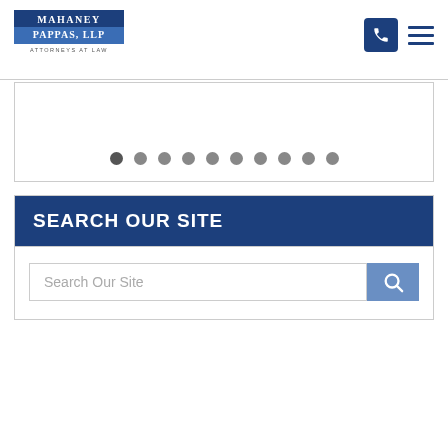[Figure (logo): Mahaney Pappas LLP Attorneys at Law logo — dark blue and medium blue rectangular blocks with white serif text]
[Figure (other): Phone icon button (dark blue rounded square) and hamburger menu icon (3 horizontal lines, dark blue)]
[Figure (other): Slider pagination dots — 10 gray circles in a row inside a bordered box]
SEARCH OUR SITE
Search Our Site